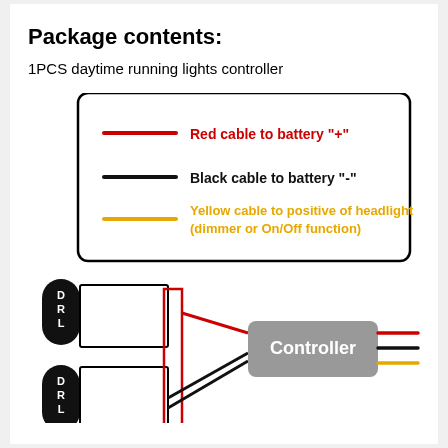Package contents:
1PCS daytime running lights controller
[Figure (schematic): Wiring legend box showing three colored cables: Red cable to battery '+', Black cable to battery '-', Yellow cable to positive of headlight (dimmer or On/Off function). Below is a circuit diagram showing two DRL units connected via wires to a Controller box, with red, black, and yellow wires exiting the controller on the right.]